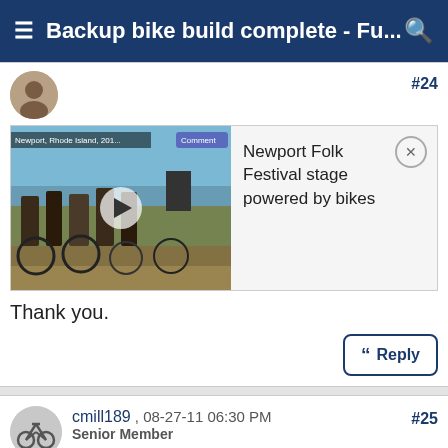Backup bike build complete - Fu...
[Figure (screenshot): Embedded video thumbnail showing people with bikes at Newport Folk Festival outdoor event, with play button overlay and title card reading 'Newport Folk Festival stage powered by bikes']
Thank you.
#24
Reply
#25
cmill189 , 08-27-11 06:30 PM
Senior Member
Sorry to drag this back up, but did you weigh the frameset bare by chance? I'm curious how it compares to my Roubaix